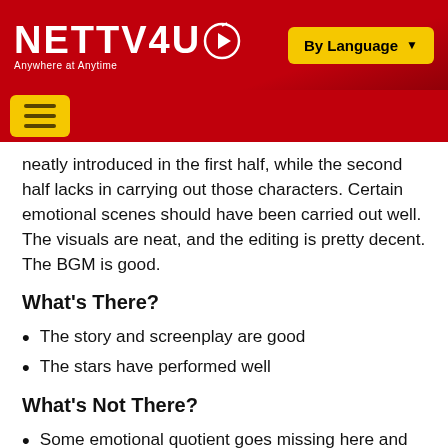NETTV4U — Anywhere at Anytime | By Language
neatly introduced in the first half, while the second half lacks in carrying out those characters. Certain emotional scenes should have been carried out well. The visuals are neat, and the editing is pretty decent. The BGM is good.
What's There?
The story and screenplay are good
The stars have performed well
What's Not There?
Some emotional quotient goes missing here and